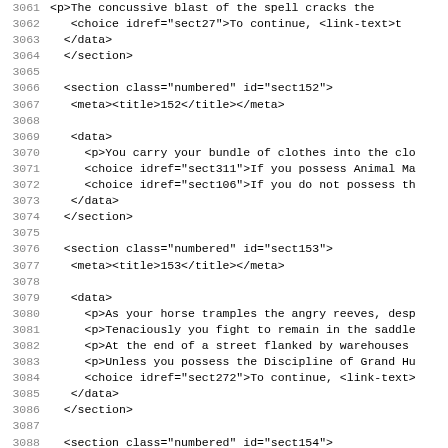Code listing lines 3061-3093, XML source content for a gamebook/interactive fiction markup format.